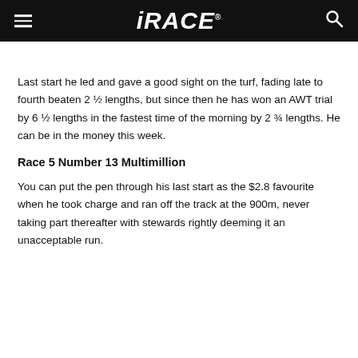iRACE
Last start he led and gave a good sight on the turf, fading late to fourth beaten 2 ½ lengths, but since then he has won an AWT trial by 6 ½ lengths in the fastest time of the morning by 2 ¾ lengths. He can be in the money this week.
Race 5 Number 13 Multimillion
You can put the pen through his last start as the $2.8 favourite when he took charge and ran off the track at the 900m, never taking part thereafter with stewards rightly deeming it an unacceptable run.